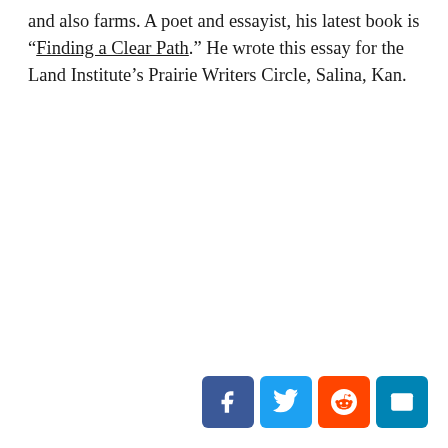and also farms. A poet and essayist, his latest book is “Finding a Clear Path.” He wrote this essay for the Land Institute’s Prairie Writers Circle, Salina, Kan.
[Figure (other): Social sharing buttons: Facebook (blue), Twitter (blue), Reddit (orange-red), Email (blue)]